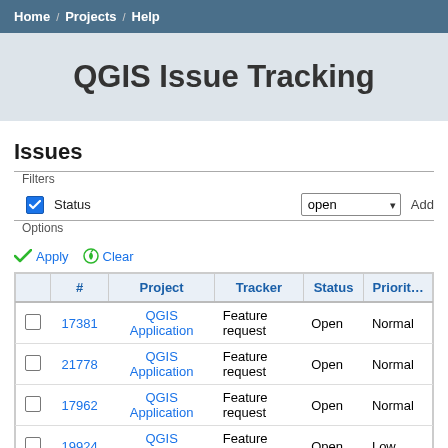Home / Projects / Help
QGIS Issue Tracking
Issues
Filters
Status  open
Options
Apply  Clear
| # | Project | Tracker | Status | Priority |
| --- | --- | --- | --- | --- |
| 17381 | QGIS Application | Feature request | Open | Normal |
| 21778 | QGIS Application | Feature request | Open | Normal |
| 17962 | QGIS Application | Feature request | Open | Normal |
| 19924 | QGIS Application | Feature request | Open | Low |
| 13379 | QGIS Application | Feature request | Open | Normal |